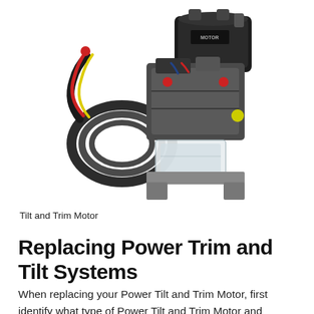[Figure (photo): A Tilt and Trim Motor unit showing a black electric motor mounted on a hydraulic pump assembly with a translucent fluid reservoir, connected to coiled black wiring harness with red and blue/yellow wires.]
Tilt and Trim Motor
Replacing Power Trim and Tilt Systems
When replacing your Power Tilt and Trim Motor, first identify what type of Power Tilt and Trim Motor and